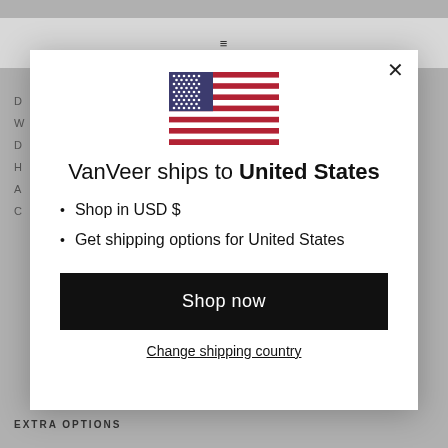[Figure (screenshot): Screenshot of a VanVeer e-commerce website with a modal dialog overlay. The background shows a grey website page with navigation and partial content. The modal is a white popup with a US flag, heading text, bullet list, and buttons.]
VanVeer ships to United States
Shop in USD $
Get shipping options for United States
Shop now
Change shipping country